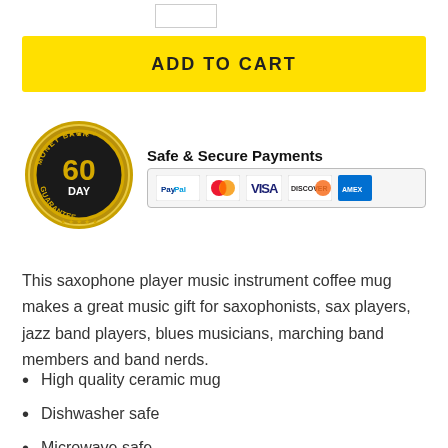[Figure (other): Small quantity input box (white rectangle with border)]
ADD TO CART
[Figure (infographic): 60 Day Money Back Guarantee badge (gold circular seal) alongside Safe & Secure Payments text with PayPal, Mastercard, VISA, Discover, and American Express payment icons in a bordered box]
This saxophone player music instrument coffee mug makes a great music gift for saxophonists, sax players, jazz band players, blues musicians, marching band members and band nerds.
High quality ceramic mug
Dishwasher safe
Microwave safe